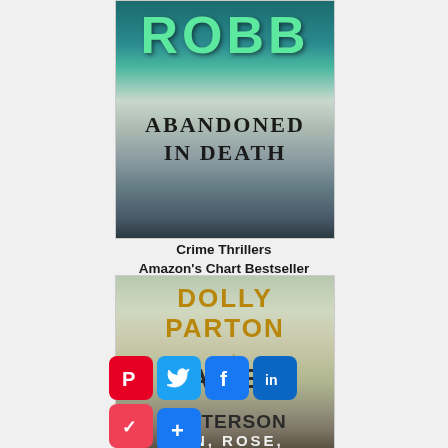[Figure (photo): Book cover: J.D. Robb 'Abandoned in Death' — teal/dark background with playground bench and crime scene tape, green lettering for ROBB, dark serif lettering for title]
Crime Thrillers
Amazon's Chart Bestseller
[Figure (photo): Book cover: Dolly Parton and James Patterson 'Run, Rose, Run' — muted olive/tan background with gold lettering for author names]
[Figure (infographic): Social sharing icons row: Pinterest (red), Twitter (blue), Facebook (blue), LinkedIn (blue), Pocket (red), and a blue plus/more button]